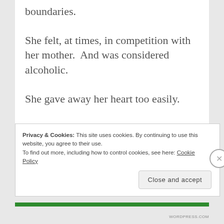boundaries.
She felt, at times, in competition with her mother.  And was considered alcoholic.
She gave away her heart too easily.
Privacy & Cookies: This site uses cookies. By continuing to use this website, you agree to their use.
To find out more, including how to control cookies, see here: Cookie Policy
Close and accept